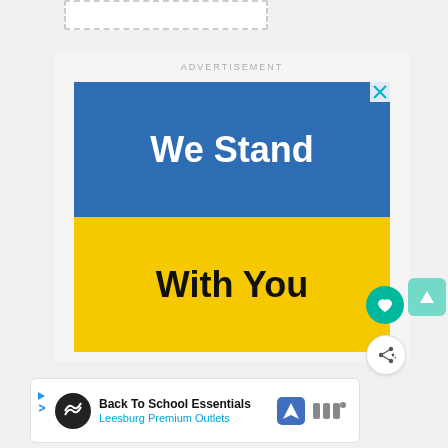[Figure (screenshot): Dashed outline box at top of page (UI placeholder element)]
ADVERTISEMENT
[Figure (illustration): Advertisement banner with blue top half reading 'We Stand' in white bold text and yellow bottom half reading 'With You' in black bold text. Has a close (X) button in top right corner.]
[Figure (illustration): Teal circular heart/like button icon on right side]
[Figure (illustration): Light teal rounded square with white triangle (play/up arrow) icon on right side]
[Figure (illustration): White circular share button with share icon on right side]
[Figure (infographic): Bottom advertisement strip: 'Back To School Essentials' by Leesburg Premium Outlets with circular logo, navigation icon, and icon group on right]